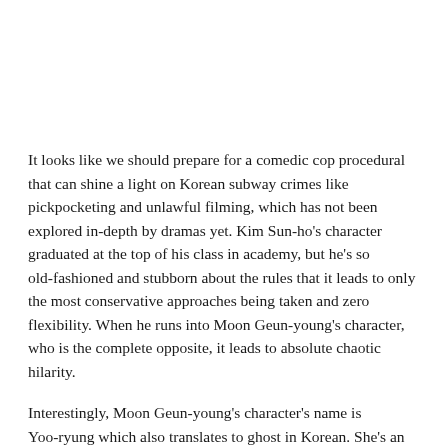It looks like we should prepare for a comedic cop procedural that can shine a light on Korean subway crimes like pickpocketing and unlawful filming, which has not been explored in-depth by dramas yet. Kim Sun-ho's character graduated at the top of his class in academy, but he's so old-fashioned and stubborn about the rules that it leads to only the most conservative approaches being taken and zero flexibility. When he runs into Moon Geun-young's character, who is the complete opposite, it leads to absolute chaotic hilarity.
Interestingly, Moon Geun-young's character's name is Yoo-ryung which also translates to ghost in Korean. She's an energetic gal who does everything with passion. Moon Geun-young said that as a